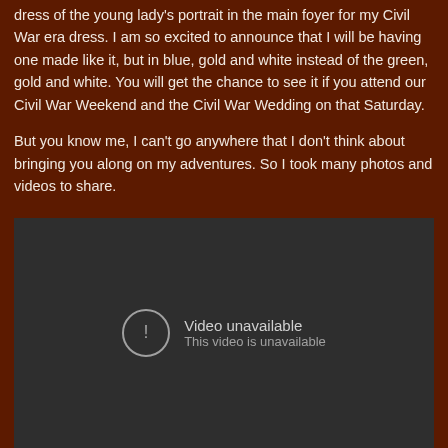dress of the young lady's portrait in the main foyer for my Civil War era dress. I am so excited to announce that I will be having one made like it, but in blue, gold and white instead of the green, gold and white. You will get the chance to see it if you attend our Civil War Weekend and the Civil War Wedding on that Saturday.

But you know me, I can't go anywhere that I don't think about bringing you along on my adventures. So I took many photos and videos to share.
[Figure (screenshot): Embedded video player showing 'Video unavailable - This video is unavailable' message on a dark background with a circular exclamation mark icon.]